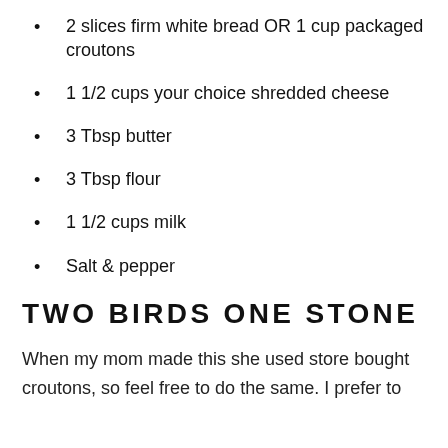2 slices firm white bread OR 1 cup packaged croutons
1 1/2 cups your choice shredded cheese
3 Tbsp butter
3 Tbsp flour
1 1/2 cups milk
Salt & pepper
TWO BIRDS ONE STONE
When my mom made this she used store bought croutons, so feel free to do the same. I prefer to